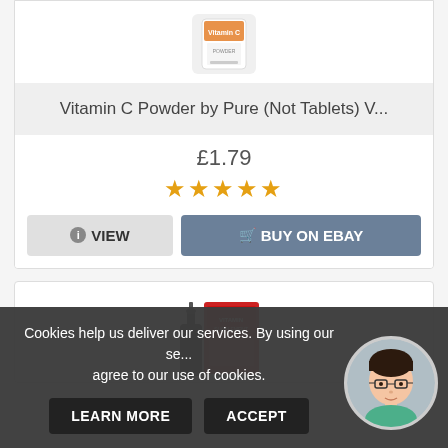[Figure (photo): Product image of Vitamin C Powder supplement container]
Vitamin C Powder by Pure (Not Tablets) V...
£1.79
[Figure (other): Five gold star rating]
VIEW
BUY ON EBAY
[Figure (photo): Product image of a red supplement box with dropper bottle]
Cookies help us deliver our services. By using our se... agree to our use of cookies.
LEARN MORE
ACCEPT
[Figure (illustration): Avatar illustration of a person with glasses and short dark hair]